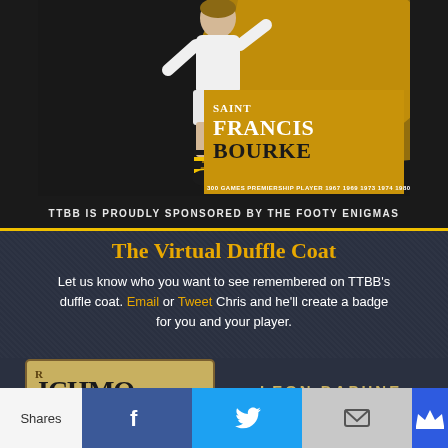[Figure (illustration): Saint Francis Bourke player card — illustration of a footballer in black and yellow striped socks on a dark background with gold/amber accent, player name and stats overlay: SAINT FRANCIS BOURKE, 300 Games, Premiership Player 1967 1969 1973 1974 1980]
TTBB IS PROUDLY SPONSORED BY THE FOOTY ENIGMAS
The Virtual Duffle Coat
Let us know who you want to see remembered on TTBB's duffle coat. Email or Tweet Chris and he'll create a badge for you and your player.
[Figure (photo): Richmond badge and Leon Daphne badge on a coat]
Shares
[Figure (infographic): Social share buttons: Facebook, Twitter, Email, Crown/Mightybell]